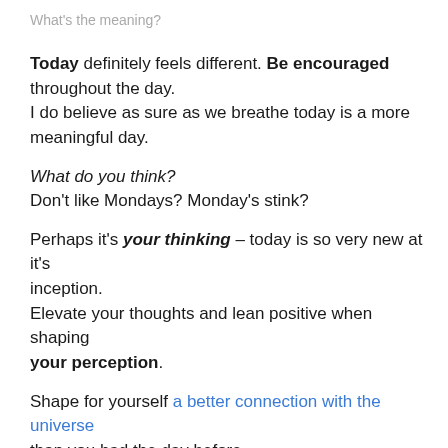What's the meaning?
Today definitely feels different. Be encouraged throughout the day.
I do believe as sure as we breathe today is a more meaningful day.
What do you think?
Don't like Mondays? Monday's stink?
Perhaps it's your thinking – today is so very new at it's inception.
Elevate your thoughts and lean positive when shaping your perception.
Shape for yourself a better connection with the universe than you had the day before.
And A More Meaningful Monday will be your days song…